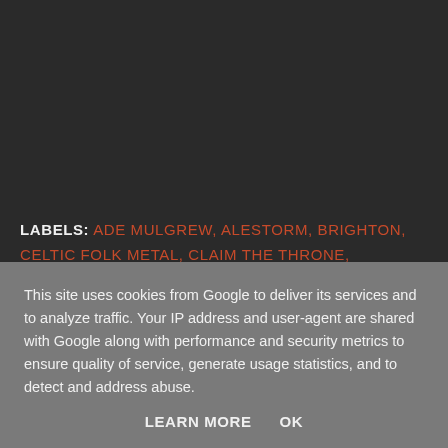LABELS: ADE MULGREW, ALESTORM, BRIGHTON, CELTIC FOLK METAL, CLAIM THE THRONE, DARKEST ERA, METAL BLADE RECORDS, MUSIC INTERVIEW, THE HAUNT, THE LAST CARESS OF LIGHT
This site uses cookies from Google to deliver its services and to analyze traffic. Your IP address and user-agent are shared with Google along with performance and security metrics to ensure quality of service, generate usage statistics, and to detect and address abuse.
LEARN MORE    OK